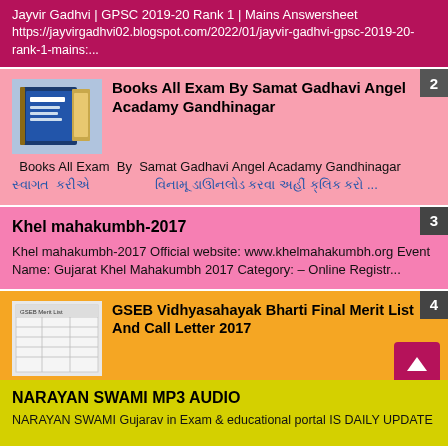Jayvir Gadhvi | GPSC 2019-20 Rank 1 | Mains Answersheet
https://jayvirgadhvi02.blogspot.com/2022/01/jayvir-gadhvi-gpsc-2019-20-rank-1-mains:...
Books All Exam By Samat Gadhavi Angel Acadamy Gandhinagar
Books All Exam By Samat Gadhavi Angel Acadamy Gandhinagar
Khel mahakumbh-2017
Khel mahakumbh-2017 Official website: www.khelmahakumbh.org Event Name: Gujarat Khel Mahakumbh 2017 Category: – Online Registr...
GSEB Vidhyasahayak Bharti Final Merit List And Call Letter 2017
GSEB Vidhyasahayak Bharti Final Merit List And Call Letter 2017 Gujarat State Educational Board (GSEB) published final merit & call l...
Gujarat Krushi University Online Admission Notification 2017-18
Gujarat Krushi University Online Admission Notification  2017-18 Agricultural Universities of Gujarat Common Admission The  Govern...
NARAYAN SWAMI MP3 AUDIO
NARAYAN SWAMI Gujarav in Exam & educational portal IS DAILY UPDATE